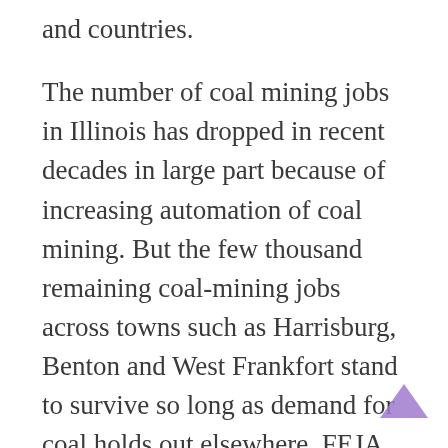and countries.
The number of coal mining jobs in Illinois has dropped in recent decades in large part because of increasing automation of coal mining. But the few thousand remaining coal-mining jobs across towns such as Harrisburg, Benton and West Frankfort stand to survive so long as demand for coal holds out elsewhere. FEJA is the least of coal workers’ worries, according to coal- and renewable-energy advocates.
The 2016 act’s mandate for renewables without burdening the coal industry is a useful selling point, especially at a time when President Donald Trump has championed himself as a defender of the blue-collar workers and described a “war on coal.”
Phil Gonet, president of the Illinois Coal Association, said about 85 percent of the state’s yearly production gets exported via the Mississippi and Ohio rivers. “A lot of